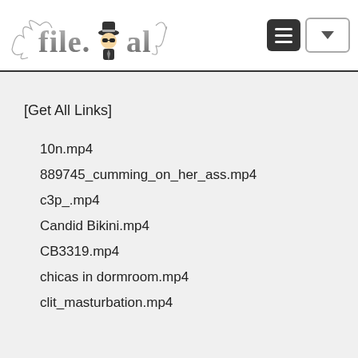File.al logo header with menu and dropdown buttons
[Get All Links]
10n.mp4
889745_cumming_on_her_ass.mp4
c3p_.mp4
Candid Bikini.mp4
CB3319.mp4
chicas in dormroom.mp4
clit_masturbation.mp4